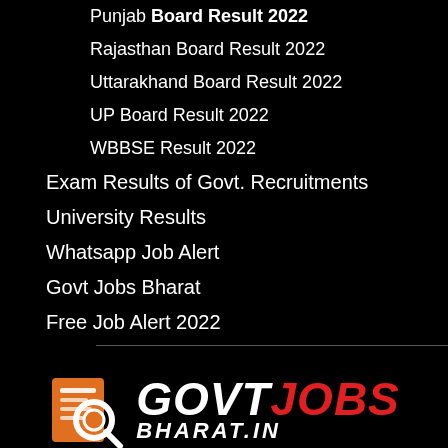Punjab Board Result 2022
Rajasthan Board Result 2022
Uttarakhand Board Result 2022
UP Board Result 2022
WBBSE Result 2022
Exam Results of Govt. Recruitments
University Results
Whatsapp Job Alert
Govt Jobs Bharat
Free Job Alert 2022
[Figure (logo): GovtJobs Bharat logo with orange and white icon showing a document with magnifying glass, text GOVTJOBS in white and red italic bold font, with BHARAT.IN beneath]